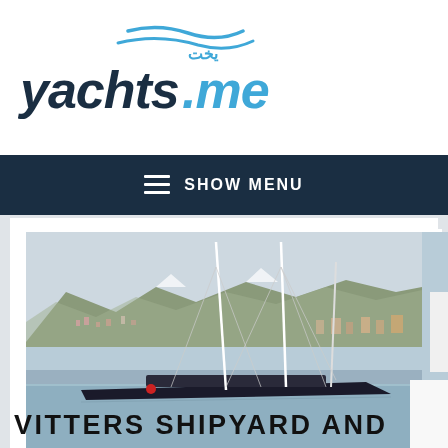yachts.me
≡ SHOW MENU
[Figure (photo): A large dark-hulled sailing superyacht with tall white masts photographed on the water in front of a coastal hillside town with mountains in the background.]
VITTERS SHIPYARD AND